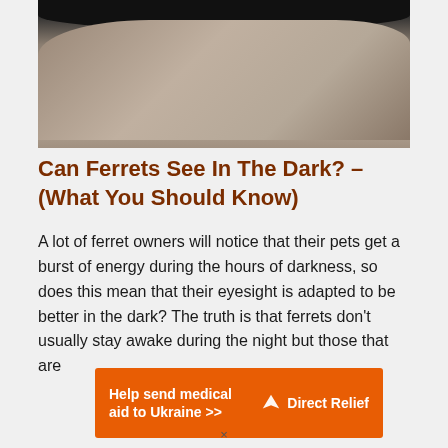[Figure (photo): Close-up photo of a ferret on a rocky/sandy surface, dark fur visible at top]
Can Ferrets See In The Dark? – (What You Should Know)
A lot of ferret owners will notice that their pets get a burst of energy during the hours of darkness, so does this mean that their eyesight is adapted to be better in the dark? The truth is that ferrets don't usually stay awake during the night but those that are
[Figure (infographic): Orange advertisement banner: Help send medical aid to Ukraine >> | Direct Relief logo]
×